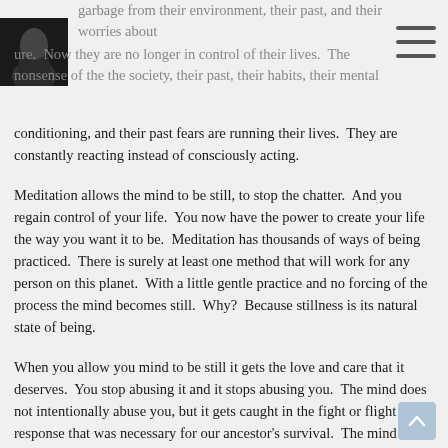[Figure (photo): Small dark square photo in top-left corner, appears to show a person or figure in dark tones]
garbage from their environment, their past, and their worries about future. Now they are no longer in control of their lives. The nonsense of the the society, their past, their habits, their mental conditioning, and their past fears are running their lives. They are constantly reacting instead of consciously acting.
Meditation allows the mind to be still, to stop the chatter. And you regain control of your life. You now have the power to create your life the way you want it to be. Meditation has thousands of ways of being practiced. There is surely at least one method that will work for any person on this planet. With a little gentle practice and no forcing of the process the mind becomes still. Why? Because stillness is its natural state of being.
When you allow you mind to be still it gets the love and care that it deserves. You stop abusing it and it stops abusing you. The mind does not intentionally abuse you, but it gets caught in the fight or flight response that was necessary for our ancestor's survival. The mind was never meant to by run this way. The minds natural state is stillness. So meditation simply lets the mind fall into its natural state the way it was intended to be. Let the mind become still and your capacity to handle all life situations drastically improves. In the